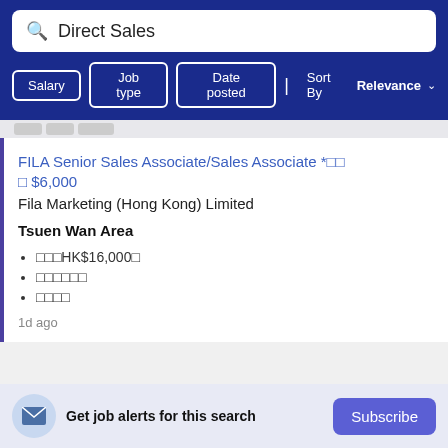Direct Sales
Salary | Job type | Date posted | Sort By Relevance
FILA Senior Sales Associate/Sales Associate *□□□ $6,000
Fila Marketing (Hong Kong) Limited
Tsuen Wan Area
□□□HK$16,000□
□□□□□□
□□□□
1d ago
Get job alerts for this search  Subscribe